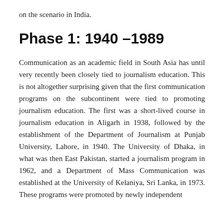on the scenario in India.
Phase 1: 1940 –1989
Communication as an academic field in South Asia has until very recently been closely tied to journalism education. This is not altogether surprising given that the first communication programs on the subcontinent were tied to promoting journalism education. The first was a short-lived course in journalism education in Aligarh in 1938, followed by the establishment of the Department of Journalism at Punjab University, Lahore, in 1940. The University of Dhaka, in what was then East Pakistan, started a journalism program in 1962, and a Department of Mass Communication was established at the University of Kelaniya, Sri Lanka, in 1973. These programs were promoted by newly independent